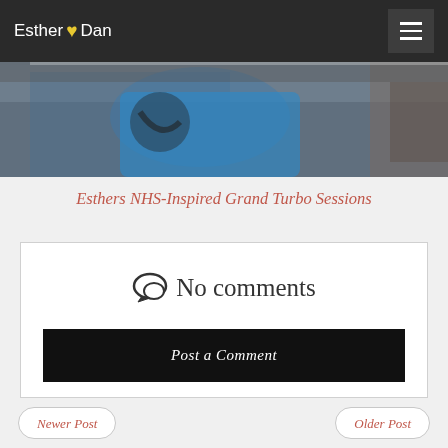Esther ♥ Dan
[Figure (photo): Cropped photo strip showing a person in a blue jacket, partially visible]
Esthers NHS-Inspired Grand Turbo Sessions
No comments
Post a Comment
Enter comment
Newer Post
Older Post